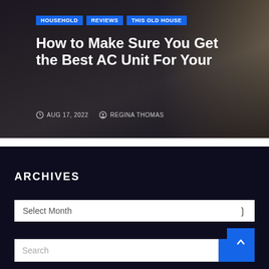[Figure (screenshot): Hero image of a modern living room interior with dark overlay, showing a sofa with red cushion]
HOUSEHOLD   REVIEWS   THIS OLD HOUSE
How to Make Sure You Get the Best AC Unit For Your
AUG 17, 2022   REGINA THOMAS
ARCHIVES
Select Month